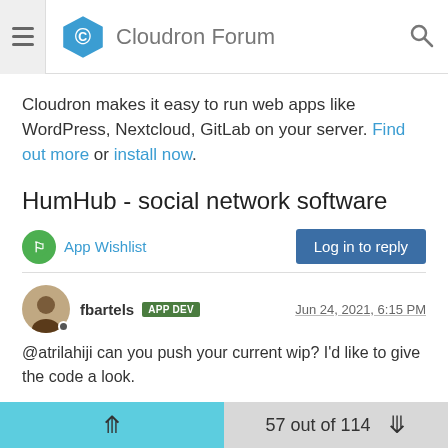Cloudron Forum
Cloudron makes it easy to run web apps like WordPress, Nextcloud, GitLab on your server. Find out more or install now.
HumHub - social network software
App Wishlist
Log in to reply
fbartels APP DEV  Jun 24, 2021, 6:15 PM
@atrilahiji can you push your current wip? I'd like to give the code a look.
1 Reply >   ∧  1
57 out of 114